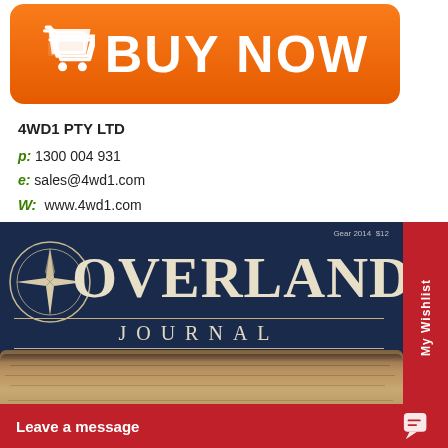[Figure (illustration): Orange 'BUY NOW' button with shopping cart icon on left, white bold text 'BUY NOW']
4WD1 PTY LTD
p: 1300 004 931
e: sales@4wd1.com
W: www.4wd1.com
[Figure (photo): Cover of Overland Journal magazine, Gear 2014 $12, dark navy blue cover with compass rose logo, OVERLAND in large serif font, JOURNAL below with decorative lines, parchment map image in lower half]
[Figure (other): Red 'My Wishlist' vertical tab on right side]
[Figure (other): Red 'Leave a message' bar at bottom with chat icon]